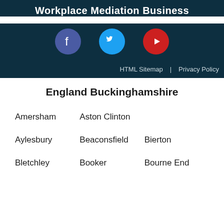Workplace Mediation Business
[Figure (illustration): Three social media icons: Facebook (dark blue circle), Twitter (light blue circle), YouTube (red circle)]
HTML Sitemap | Privacy Policy
England Buckinghamshire
Amersham
Aston Clinton
Aylesbury
Beaconsfield
Bierton
Bletchley
Booker
Bourne End